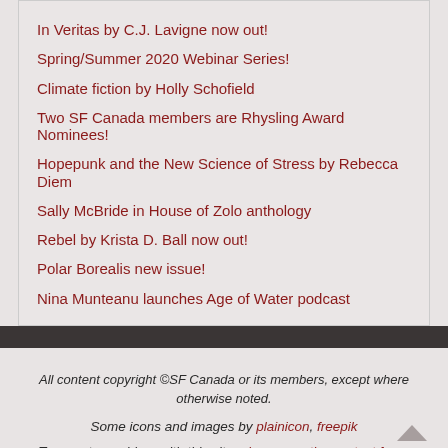In Veritas by C.J. Lavigne now out!
Spring/Summer 2020 Webinar Series!
Climate fiction by Holly Schofield
Two SF Canada members are Rhysling Award Nominees!
Hopepunk and the New Science of Stress by Rebecca Diem
Sally McBride in House of Zolo anthology
Rebel by Krista D. Ball now out!
Polar Borealis new issue!
Nina Munteanu launches Age of Water podcast
All content copyright ©SF Canada or its members, except where otherwise noted. Some icons and images by plainicon, freepik. To report a problem with this site, please use the contact form.